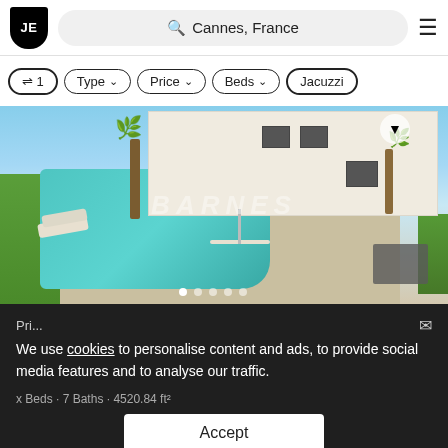JE | Cannes, France
⊕ 1  Type ∨  Price ∨  Beds ∨  Jacuzzi
[Figure (photo): Luxury villa with swimming pool in Cannes, France. Modern white villa with palm trees, outdoor dining area, and a large turquoise swimming pool with sun loungers.]
We use cookies to personalise content and ads, to provide social media features and to analyse our traffic.
Accept
Pri...  ✉
x Beds · 7 Baths · 4520.84 ft²
Villa in Cann...  🔔  Map  France
BARNES